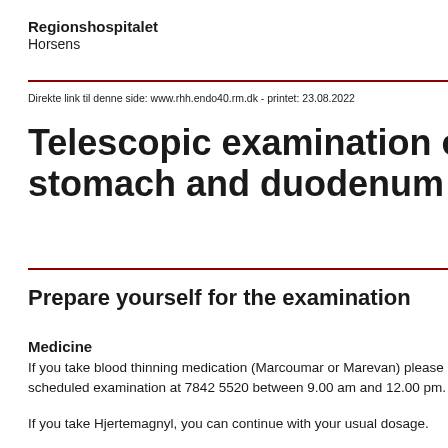Regionshospitalet
Horsens
Direkte link til denne side: www.rhh.endo40.rm.dk - printet: 23.08.2022
Telescopic examination of the oesophagus, stomach and duodenum (Gastro…
Prepare yourself for the examination
Medicine
If you take blood thinning medication (Marcoumar or Marevan) please contact us about your scheduled examination at 7842 5520 between 9.00 am and 12.00 pm.
If you take Hjertemagnyl, you can continue with your usual dosage.